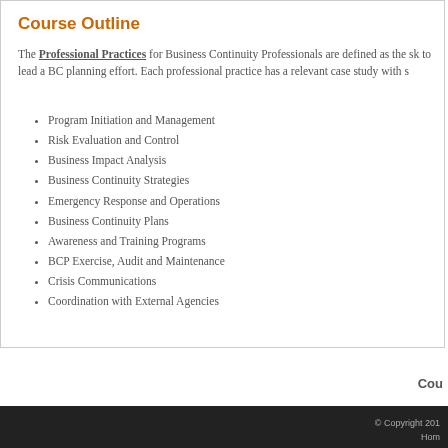Course Outline
The Professional Practices for Business Continuity Professionals are defined as the sk to lead a BC planning effort. Each professional practice has a relevant case study with s
Program Initiation and Management
Risk Evaluation and Control
Business Impact Analysis
Business Continuity Strategies
Emergency Response and Operations
Business Continuity Plans
Awareness and Training Programs
BCP Exercise, Audit and Maintenance
Crisis Communications
Coordination with External Agencies
Cou
© Copyright 201
Hom